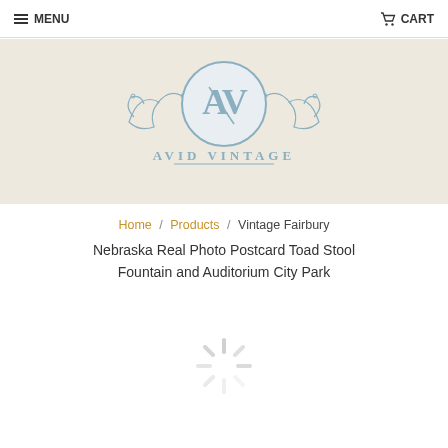MENU   CART
[Figure (logo): Avid Vintage logo with circular monogram AV and decorative scrollwork on beige background]
Home / Products / Vintage Fairbury Nebraska Real Photo Postcard Toad Stool Fountain and Auditorium City Park
[Figure (other): Loading spinner graphic]